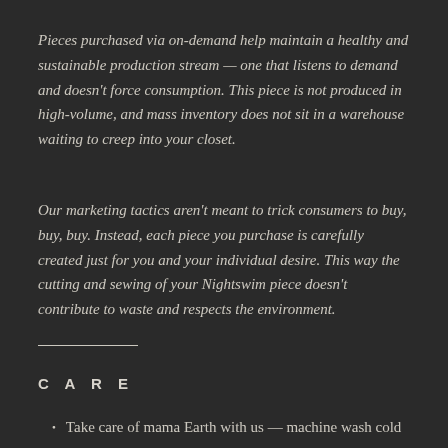Pieces purchased via on-demand help maintain a healthy and sustainable production stream — one that listens to demand and doesn't force consumption. This piece is not produced in high-volume, and mass inventory does not sit in a warehouse waiting to creep into your closet.
Our marketing tactics aren't meant to trick consumers to buy, buy, buy. Instead, each piece you purchase is carefully created just for you and your individual desire. This way the cutting and sewing of your Nightswim piece doesn't contribute to waste and respects the environment.
CARE
Take care of mama Earth with us — machine wash cold on